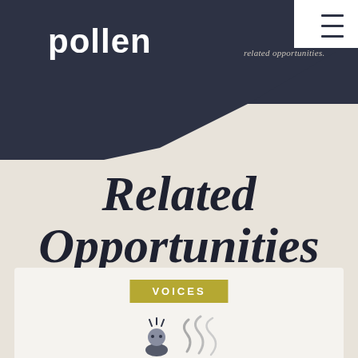pollen
related opportunities.
Related Opportunities
VOICES
[Figure (illustration): Illustrated character appearing startled or alarmed, with stylized smoke or steam rising beside them]